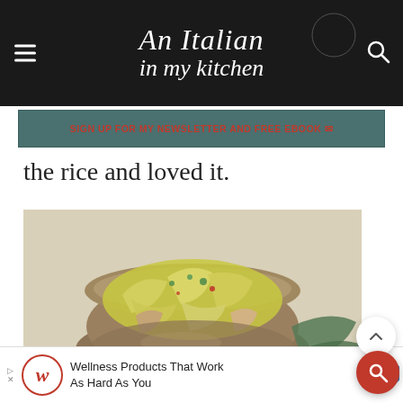An Italian in my kitchen
SIGN UP FOR MY NEWSLETTER AND FREE EBOOK
the rice and loved it.
[Figure (photo): A rustic ceramic bowl filled with sautéed cabbage, pork, and herbs garnished with red chili flakes, with green leaves in the background.]
Wellness Products That Work As Hard As You